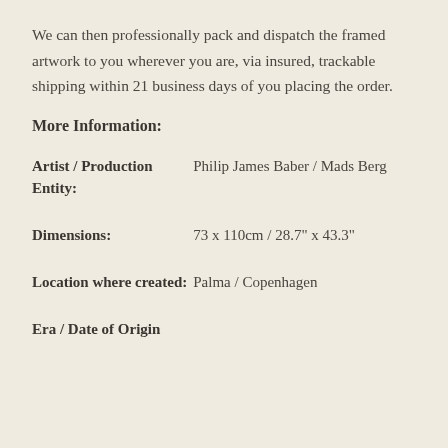We can then professionally pack and dispatch the framed artwork to you wherever you are, via insured, trackable shipping within 21 business days of you placing the order.
More Information:
| Artist / Production Entity: | Philip James Baber / Mads Berg |
| Dimensions: | 73 x 110cm / 28.7" x 43.3" |
| Location where created: | Palma / Copenhagen |
| Era / Date of Origin: |  |